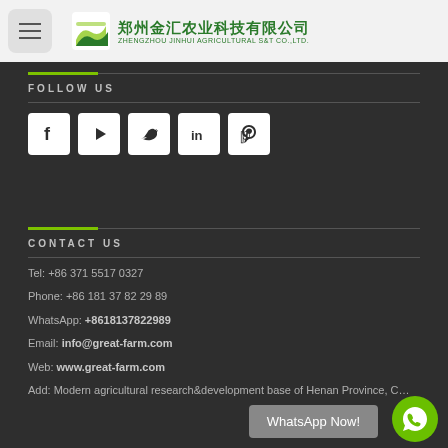郑州金汇农业科技有限公司 ZHENGZHOU JINHUI AGRICULTURAL S&T CO.,LTD.
FOLLOW US
[Figure (illustration): Social media icons: Facebook, YouTube, Twitter, LinkedIn, Pinterest]
CONTACT US
Tel: +86 371 5517 0327
Phone: +86 181 37 82 29 89
WhatsApp: +8618137822989
Email: info@great-farm.com
Web: www.great-farm.com
Add: Modern agricultural research&development base of Henan Province, C…